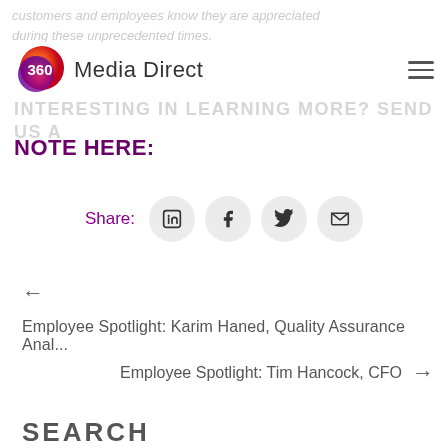customers and employees know they are appreciated
during these unprecedented times.
360 Media Direct
INTERESTING IN LEARNING MORE? SEND US A NOTE HERE:
[Figure (infographic): Share buttons row: LinkedIn, Facebook, Twitter, Email icons in circular grey buttons]
← Employee Spotlight: Karim Haned, Quality Assurance Anal...
Employee Spotlight: Tim Hancock, CFO →
SEARCH